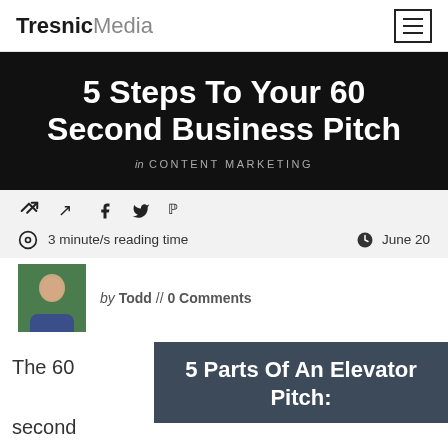TresnicMedia
5 Steps To Your 60 Second Business Pitch
in CONTENT MARKETING
3 minute/s reading time   June 20
by Todd // 0 Comments
The 60 second
5 Parts Of An Elevator Pitch: